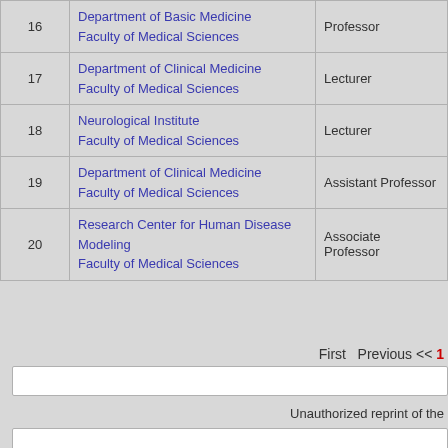| # | Department / Faculty | Role |
| --- | --- | --- |
| 16 | Department of Basic Medicine
Faculty of Medical Sciences | Professor |
| 17 | Department of Clinical Medicine
Faculty of Medical Sciences | Lecturer |
| 18 | Neurological Institute
Faculty of Medical Sciences | Lecturer |
| 19 | Department of Clinical Medicine
Faculty of Medical Sciences | Assistant Professor |
| 20 | Research Center for Human Disease Modeling
Faculty of Medical Sciences | Associate Professor |
First   Previous << 1
Unauthorized reprint of the